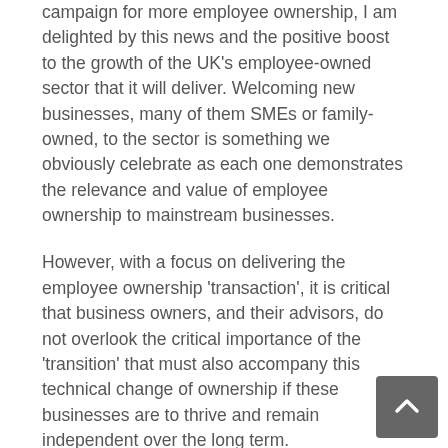campaign for more employee ownership, I am delighted by this news and the positive boost to the growth of the UK's employee-owned sector that it will deliver. Welcoming new businesses, many of them SMEs or family-owned, to the sector is something we obviously celebrate as each one demonstrates the relevance and value of employee ownership to mainstream businesses.
However, with a focus on delivering the employee ownership 'transaction', it is critical that business owners, and their advisors, do not overlook the critical importance of the 'transition' that must also accompany this technical change of ownership if these businesses are to thrive and remain independent over the long term.
The EOA is driven by a purpose to ensure employee ownership delivers Better Business and not simply a change of ownership. Achieving this relies on two,